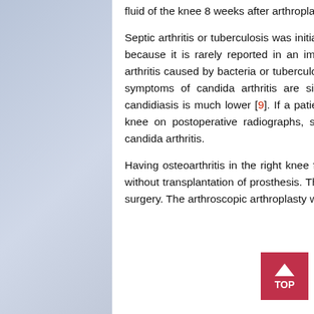paraprosthesis was cultured from the synovial fluid of the knee 8 weeks after arthroplasty.
Septic arthritis or tuberculosis was initially suspected, and Candida was not considered as a cause because it is rarely reported in an immunocompetent patient; however, postoperative infectious arthritis caused by bacteria or tuberculosis is not rare in an immunocompetent patient [8]. Although symptoms of candida arthritis are similar to septic arthritis or tuberculosis, the incidence of candidiasis is much lower [9]. If a patient develops pain and swelling with rapid destruction of the knee on postoperative radiographs, septic arthritis or tuberculosis must be suspected prior to candida arthritis.
Having osteoarthritis in the right knee for a lengthy period of time, the patient had an arthroplasty without transplantation of prosthesis. There was no evidence of immunosuppression before or after surgery. The arthroscopic arthroplasty was performed